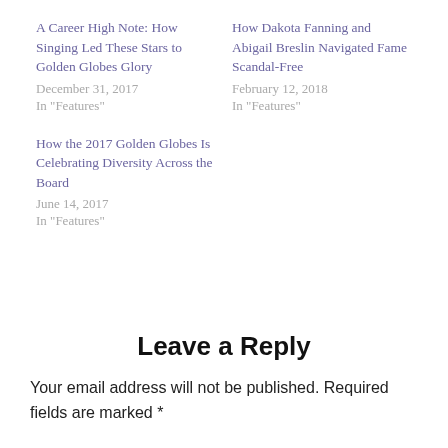A Career High Note: How Singing Led These Stars to Golden Globes Glory
December 31, 2017
In "Features"
How Dakota Fanning and Abigail Breslin Navigated Fame Scandal-Free
February 12, 2018
In "Features"
How the 2017 Golden Globes Is Celebrating Diversity Across the Board
June 14, 2017
In "Features"
Leave a Reply
Your email address will not be published. Required fields are marked *